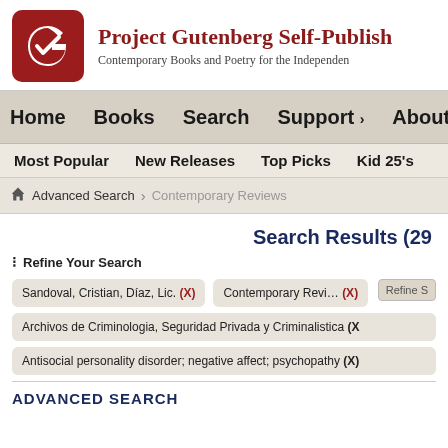[Figure (logo): Project Gutenberg Self-Publishing logo — red rounded square with white G letter mark]
Project Gutenberg Self-Publish
Contemporary Books and Poetry for the Independen
Home   Books   Search   Support ›   About U
Most Popular   New Releases   Top Picks   Kid 25's
Advanced Search   Contemporary Reviews
Search Results (29
≔ Refine Your Search
Sandoval, Cristian, Díaz, Lic. (X)   Contemporary Reviews (X)
Refine S
Archivos de Criminologia, Seguridad Privada y Criminalistica (X)
Antisocial personality disorder; negative affect; psychopathy (X)
ADVANCED SEARCH